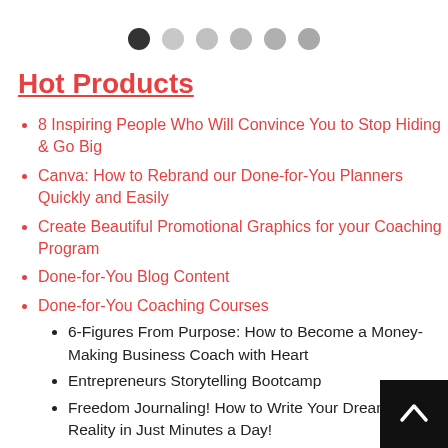[Figure (other): Pagination dots navigation — 6 dots, first one dark/active, remaining progressively lighter gray]
Hot Products
8 Inspiring People Who Will Convince You to Stop Hiding & Go Big
Canva: How to Rebrand our Done-for-You Planners Quickly and Easily
Create Beautiful Promotional Graphics for your Coaching Program
Done-for-You Blog Content
Done-for-You Coaching Courses
6-Figures From Purpose: How to Become a Money-Making Business Coach with Heart
Entrepreneurs Storytelling Bootcamp
Freedom Journaling! How to Write Your Dreams into Reality in Just Minutes a Day!
From Dream to Do to Done
From Full-Time to Freelancer: Create, Launch, and